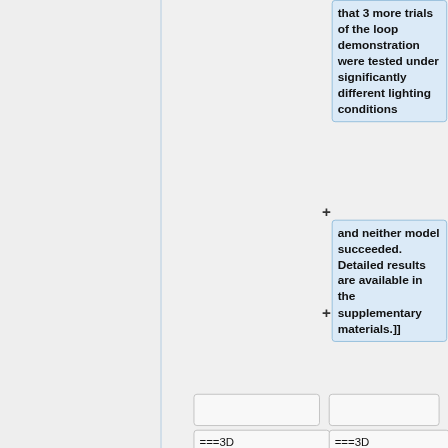that 3 more trials of the loop demonstration were tested under significantly different lighting conditions
and neither model succeeded. Detailed results are available in the supplementary materials.]]
===3D Navigation in
===3D Navigation in